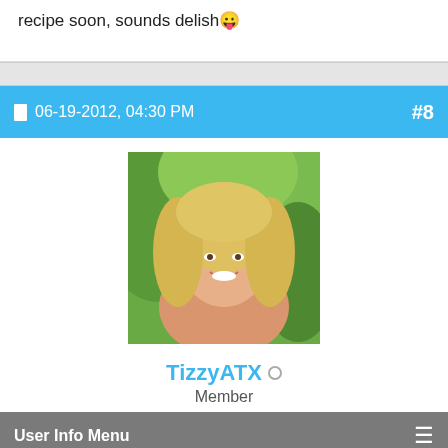recipe soon, sounds delish 😛
06-19-2012, 04:30 PM   #8
[Figure (photo): Profile photo of a blonde woman outdoors with green foliage in background]
TizzyATX ○
Member
User Info Menu ≡
Re: SPRATS Sweet Potato Salad
So am I....it looks so yummy and colorful.